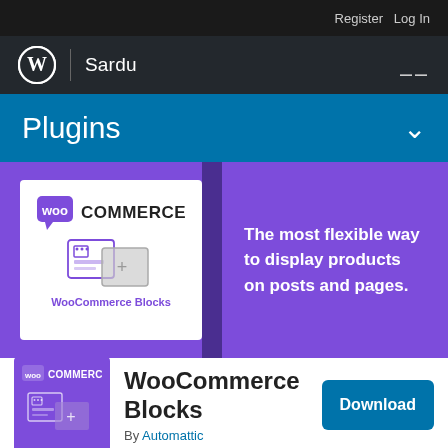Register  Log In
Sardu
Plugins
[Figure (screenshot): WooCommerce Blocks plugin banner card with WooCommerce logo and block icons on white card over purple background, with text: The most flexible way to display products on posts and pages.]
The most flexible way to display products on posts and pages.
[Figure (logo): WooCommerce Blocks plugin thumbnail with WooCommerce logo on purple background]
WooCommerce Blocks
By Automattic
Download